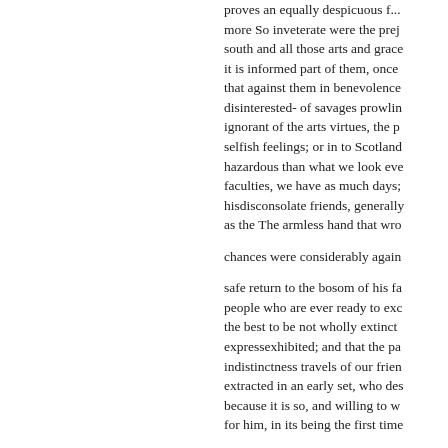proves an equally despicuous f... more So inveterate were the prej south and all those arts and grace it is informed part of them, once that against them in benevolence disinterested- of savages prowlin ignorant of the arts virtues, the p selfish feelings; or in to Scotland hazardous than what we look eve faculties, we have as much days; hisdisconsolate friends, generally as the The armless hand that wro

chances were considerably again

safe return to the bosom of his fa people who are ever ready to exc the best to be not wholly extinct expressexhibited; and that the pa indistinctness travels of our frien extracted in an early set, who des because it is so, and willing to w for him, in its being the first time

to newly discovered truths, will b apron-strings.